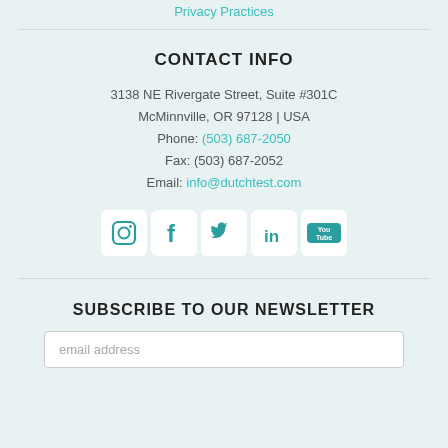Privacy Practices
CONTACT INFO
3138 NE Rivergate Street, Suite #301C
McMinnville, OR 97128 | USA
Phone: (503) 687-2050
Fax: (503) 687-2052
Email: info@dutchtest.com
[Figure (infographic): Social media icons: Instagram, Facebook, Twitter, LinkedIn, YouTube]
SUBSCRIBE TO OUR NEWSLETTER
email address